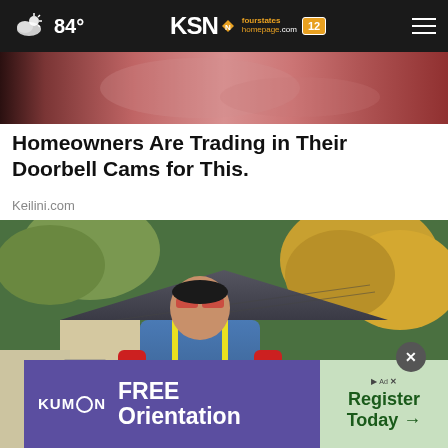84° KSN fourstates homepage.com 12
[Figure (photo): Partial cropped image at top of page showing pink/red tones, likely a close-up of a doorbell or related product]
Homeowners Are Trading in Their Doorbell Cams for This.
Keilini.com
[Figure (photo): A roofer/construction worker in a blue shirt and red long sleeves with yellow safety harness, carrying GAF Timberline HD roofing shingles packages, with a house and autumn trees in background]
[Figure (other): Kumon advertisement banner: purple left side with Kumon logo and FREE Orientation text, green right side with Register Today arrow button and close X button overlay]